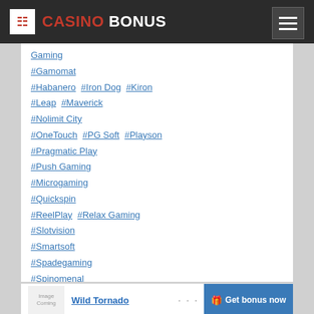CASINO BONUS
#Gaming
#Gamomat
#Habanero #Iron Dog #Kiron
#Leap #Maverick
#Nolimit City
#OneTouch #PG Soft #Playson
#Pragmatic Play
#Push Gaming
#Microgaming
#Quickspin
#ReelPlay #Relax Gaming
#Slotvision
#Smartsoft
#Spadegaming
#Spinomenal
#Swintt #Tom Horn Gaming
#Triple
Wild Tornado
Get bonus now